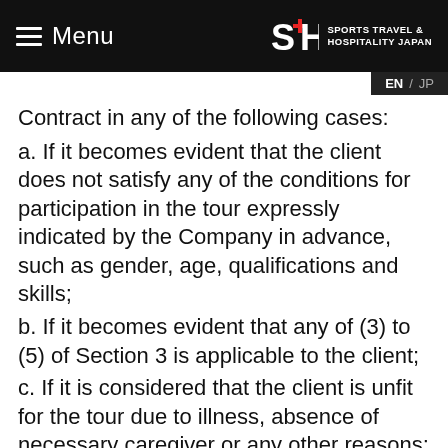Menu | SPORTS TRAVEL & HOSPITALITY JAPAN
Contract in any of the following cases:
a. If it becomes evident that the client does not satisfy any of the conditions for participation in the tour expressly indicated by the Company in advance, such as gender, age, qualifications and skills;
b. If it becomes evident that any of (3) to (5) of Section 3 is applicable to the client;
c. If it is considered that the client is unfit for the tour due to illness, absence of necessary caregiver or any other reasons;
d. If it is considered that the client is likely to cause trouble to other clients or interfere